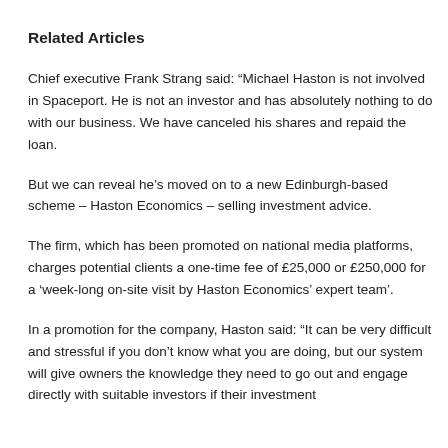Related Articles
Chief executive Frank Strang said: “Michael Haston is not involved in Spaceport. He is not an investor and has absolutely nothing to do with our business. We have canceled his shares and repaid the loan.
But we can reveal he’s moved on to a new Edinburgh-based scheme – Haston Economics – selling investment advice.
The firm, which has been promoted on national media platforms, charges potential clients a one-time fee of £25,000 or £250,000 for a ‘week-long on-site visit by Haston Economics’ expert team’.
In a promotion for the company, Haston said: “It can be very difficult and stressful if you don’t know what you are doing, but our system will give owners the knowledge they need to go out and engage directly with suitable investors if their investment